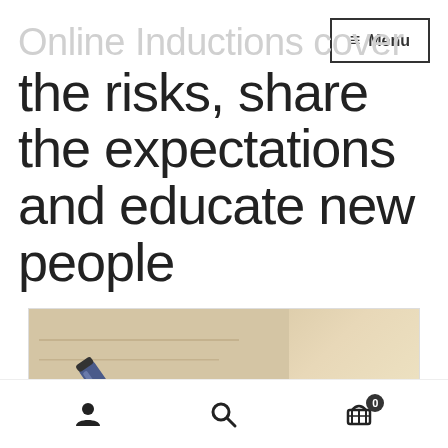Menu
Online Inductions cover the risks, share the expectations and educate new people
[Figure (photo): Close-up photo of a blue pen resting on documents/paper, with white text overlay reading 'POLICIES & PROCEDURES']
User icon, Search icon, Cart icon with badge 0